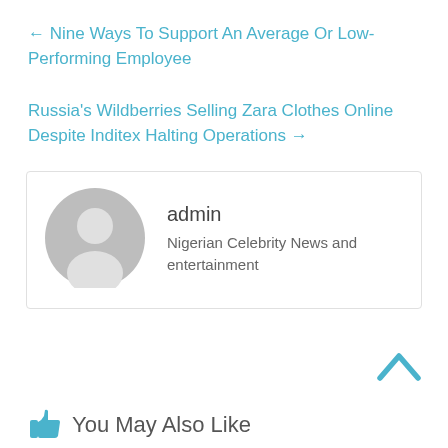← Nine Ways To Support An Average Or Low-Performing Employee
Russia's Wildberries Selling Zara Clothes Online Despite Inditex Halting Operations →
[Figure (illustration): Grey avatar/user placeholder icon (circle with person silhouette)]
admin
Nigerian Celebrity News and entertainment
[Figure (illustration): Back to top chevron/caret up arrow icon in teal/blue]
You May Also Like